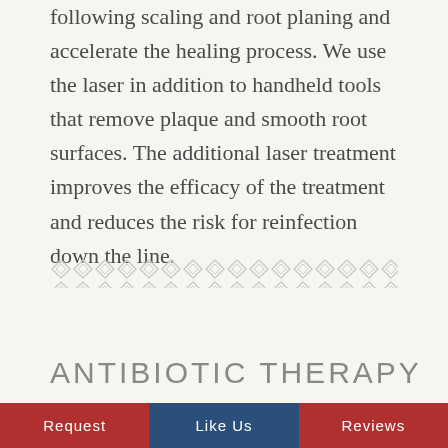following scaling and root planing and accelerate the healing process. We use the laser in addition to handheld tools that remove plaque and smooth root surfaces. The additional laser treatment improves the efficacy of the treatment and reduces the risk for reinfection down the line.
[Figure (illustration): Decorative horizontal diamond/chain-link repeating pattern in light gray]
ANTIBIOTIC THERAPY
Request   Like Us   Reviews